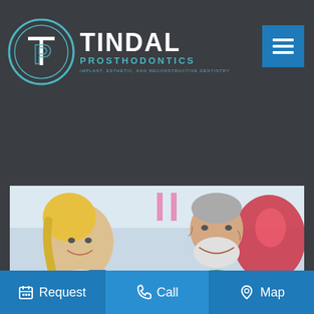[Figure (logo): Tindal Prosthodontics logo with circular TP monogram and text: TINDAL PROSTHODONTICS, IMPLANT, ESTHETIC AND RECONSTRUCTIVE DENTISTRY]
stable smile.
[Figure (photo): A smiling elderly man with white beard in a dental chair, a female dental professional smiling beside him in a dental office setting. A pink dental model/mold is visible.]
Request   Call   Map